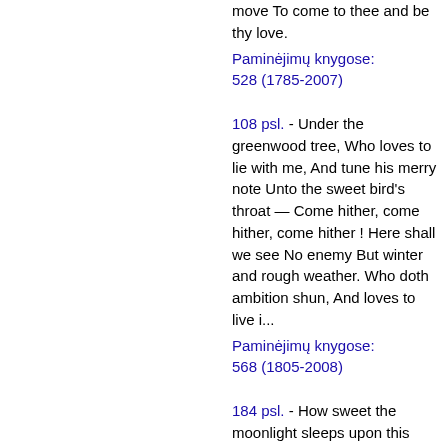move To come to thee and be thy love.
Paminėjimų knygose: 528 (1785-2007)
108 psl. - Under the greenwood tree, Who loves to lie with me, And tune his merry note Unto the sweet bird's throat — Come hither, come hither, come hither ! Here shall we see No enemy But winter and rough weather. Who doth ambition shun, And loves to live i...
Paminėjimų knygose: 568 (1805-2008)
184 psl. - How sweet the moonlight sleeps upon this bank! Here will we